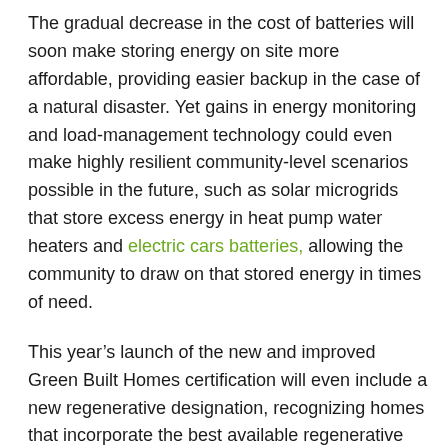The gradual decrease in the cost of batteries will soon make storing energy on site more affordable, providing easier backup in the case of a natural disaster. Yet gains in energy monitoring and load-management technology could even make highly resilient community-level scenarios possible in the future, such as solar microgrids that store excess energy in heat pump water heaters and electric cars batteries, allowing the community to draw on that stored energy in times of need.
This year’s launch of the new and improved Green Built Homes certification will even include a new regenerative designation, recognizing homes that incorporate the best available regenerative elements and technologies — both those that are simple, and those that are more aspirational but nonetheless beneficial. I’m excited to see what new building innovation this spurs in our community, and I hope you are too.
One of my favorite definitions of the term “sustainability” is a simple one: “the ability to exist constantly.” While in the context of green…